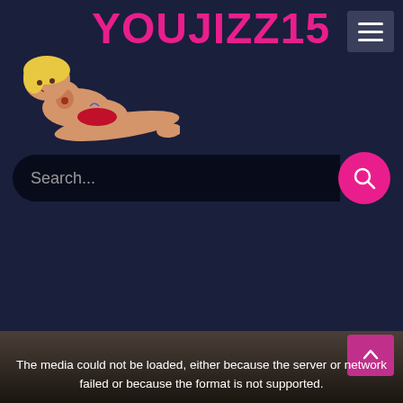[Figure (illustration): Cartoon illustration of a blonde woman in a red bikini lying down, used as website mascot/logo]
YOUJIZZ15
[Figure (screenshot): Search bar with placeholder text 'Search...' and a pink circular search button]
The media could not be loaded, either because the server or network failed or because the format is not supported.